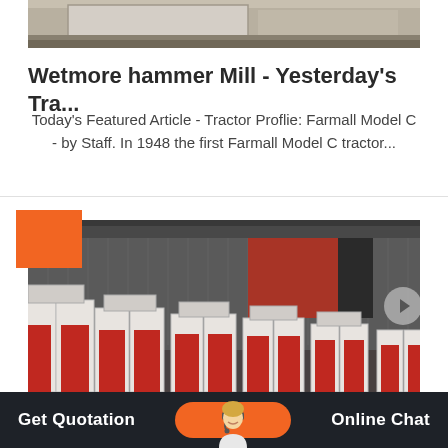[Figure (photo): Top portion of industrial machinery/hammer mill equipment, light beige/tan colored, partial view]
Wetmore hammer Mill - Yesterday's Tra...
Today's Featured Article - Tractor Proflie: Farmall Model C - by Staff. In 1948 the first Farmall Model C tractor...
[Figure (photo): Multiple white and red hammer mill units lined up in front of an industrial building with dark corrugated metal siding and a red garage door]
Get Quotation   Online Chat